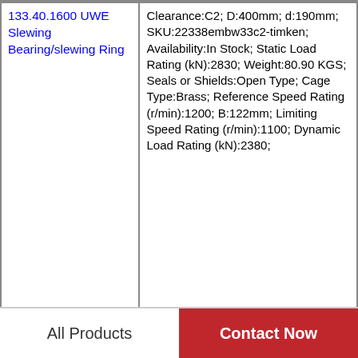| Product Name | Description |
| --- | --- |
| 133.40.1600 UWE Slewing Bearing/slewing Ring | Clearance:C2; D:400mm; d:190mm; SKU:22338embw33c2-timken; Availability:In Stock; Static Load Rating (kN):2830; Weight:80.90 KGS; Seals or Shields:Open Type; Cage Type:Brass; Reference Speed Rating (r/min):1200; B:122mm; Limiting Speed Rating (r/min):1100; Dynamic Load Rating (kN):2380; |
| 90-200741/0-37042 Slewing Ring Bearing 24.961x33.386x2.205 Inch | Weight:0.02 KGS; Availability:In Stock; Cage Type:Steel; B:120mm; D:360mm; Seals or Shields:Open Type; SKU:22334cc/c3w33-qbl; |
All Products
Contact Now